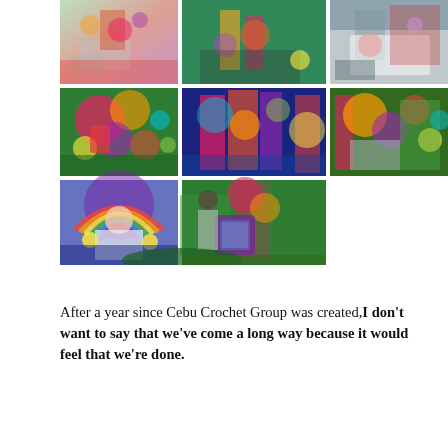[Figure (photo): A 3x3 grid of photos showing colorful yarn bombing / crochet art installations on trees and people in Cebu. Top row: three photos of yarn-covered trees and people outdoors. Middle row: three close-up photos of vibrantly colored crocheted patterns on tree trunks. Bottom row: two photos — one of a woman holding a rainbow crocheted hat, one of a woman near a yarn-bombed tree.]
After a year since Cebu Crochet Group was created,I don't want to say that we've come a long way because it would feel that we're done.